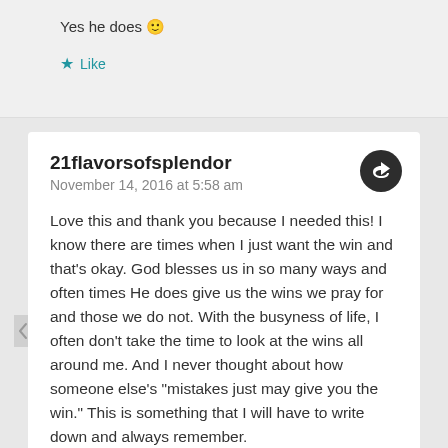Yes he does 🙂
★ Like
21flavorsofsplendor
November 14, 2016 at 5:58 am
Love this and thank you because I needed this! I know there are times when I just want the win and that's okay. God blesses us in so many ways and often times He does give us the wins we pray for and those we do not. With the busyness of life, I often don't take the time to look at the wins all around me. And I never thought about how someone else's "mistakes just may give you the win." This is something that I will have to write down and always remember.
★ Like